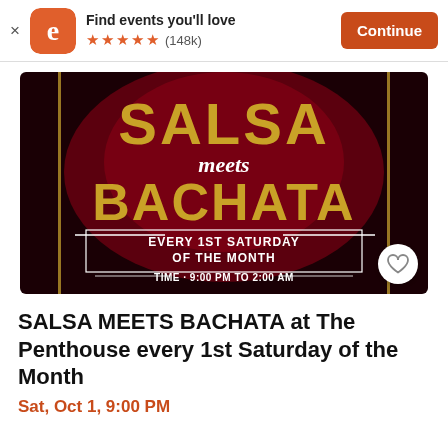Find events you'll love ★★★★★ (148k) Continue
[Figure (illustration): Promotional event banner for SALSA MEETS BACHATA at The Penthouse every 1st Saturday of the month, 9:00 PM to 2:00 AM, with gold text on a dark red background with a dancing couple]
SALSA MEETS BACHATA at The Penthouse every 1st Saturday of the Month
Sat, Oct 1, 9:00 PM